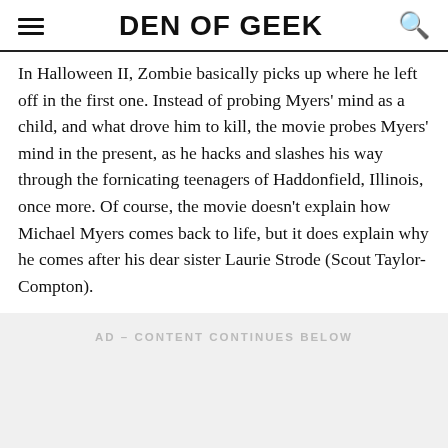DEN OF GEEK
In Halloween II, Zombie basically picks up where he left off in the first one. Instead of probing Myers' mind as a child, and what drove him to kill, the movie probes Myers' mind in the present, as he hacks and slashes his way through the fornicating teenagers of Haddonfield, Illinois, once more. Of course, the movie doesn't explain how Michael Myers comes back to life, but it does explain why he comes after his dear sister Laurie Strode (Scout Taylor-Compton).
AD – CONTENT CONTINUES BELOW